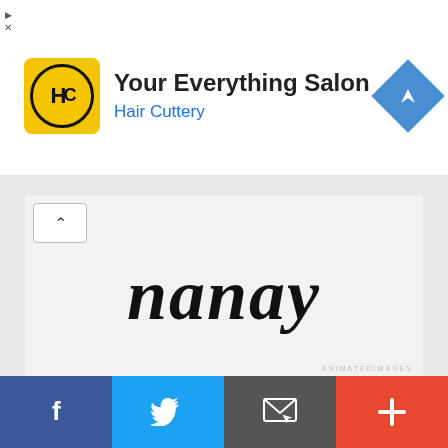[Figure (screenshot): Hair Cuttery advertisement banner with HC logo, 'Your Everything Salon' title, 'Hair Cuttery' subtitle in blue, and blue diamond navigation icon]
[Figure (screenshot): Cursive handwritten text 'nanay' on light gray background with expand/collapse button]
[Figure (photo): I Love You Mom card with red heart and two orange kittens cuddling, share button in corner]
[Figure (screenshot): Social share bar with Facebook (blue), Twitter (light blue), Email (gray), and Plus (red-orange) buttons]